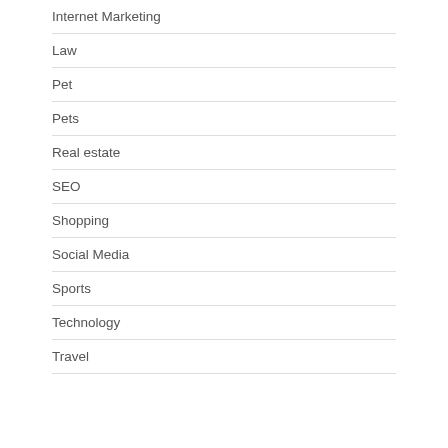Internet Marketing
Law
Pet
Pets
Real estate
SEO
Shopping
Social Media
Sports
Technology
Travel